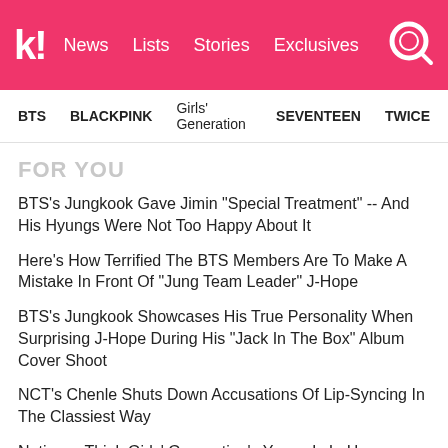koreaboo | News Lists Stories Exclusives
BTS  BLACKPINK  Girls' Generation  SEVENTEEN  TWICE
FOR YOU
BTS's Jungkook Gave Jimin "Special Treatment" -- And His Hyungs Were Not Too Happy About It
Here's How Terrified The BTS Members Are To Make A Mistake In Front Of "Jung Team Leader" J-Hope
BTS's Jungkook Showcases His True Personality When Surprising J-Hope During His "Jack In The Box" Album Cover Shoot
NCT's Chenle Shuts Down Accusations Of Lip-Syncing In The Classiest Way
Netizens Think Girls' Generation's Yoona Is In Her Legendary Visual Phase After Gaining Weight